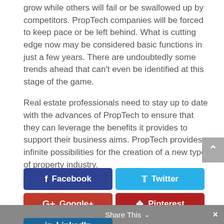grow while others will fail or be swallowed up by competitors. PropTech companies will be forced to keep pace or be left behind. What is cutting edge now may be considered basic functions in just a few years. There are undoubtedly some trends ahead that can't even be identified at this stage of the game.
Real estate professionals need to stay up to date with the advances of PropTech to ensure that they can leverage the benefits it provides to support their business aims. PropTech provides infinite possibilities for the creation of a new type of property industry.
[Figure (other): Social sharing buttons: Facebook (dark blue), Twitter (light blue), Google+ (red), Pinterest (dark red), LinkedIn (dark blue, partially visible). Bottom bar with 'Share This' text and close X button.]